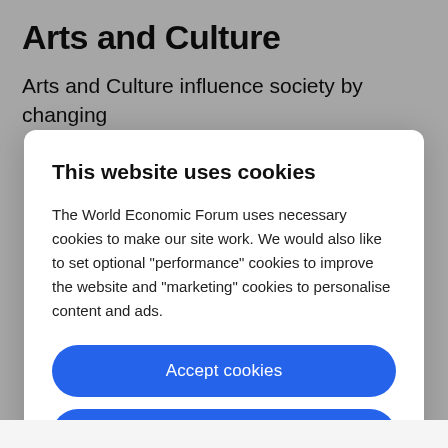Arts and Culture
Arts and Culture influence society by changing
This website uses cookies
The World Economic Forum uses necessary cookies to make our site work. We would also like to set optional "performance" cookies to improve the website and "marketing" cookies to personalise content and ads.
Accept cookies
Reject cookies
Cookie settings